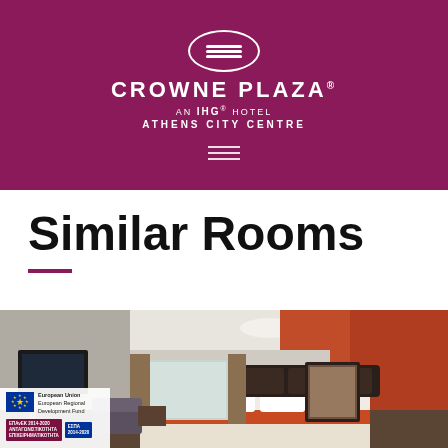[Figure (logo): Crowne Plaza Athens City Centre hotel logo — oval emblem with wave lines, brand name, IHG hotel tagline, and Athens City Centre subtitle on purple/magenta background with hamburger menu icon]
Similar Rooms
[Figure (photo): Hotel room interior photo showing a bed with orange/brown accent wall, dark wood headboard, TV on left wall, curtained windows, and bedside lamp]